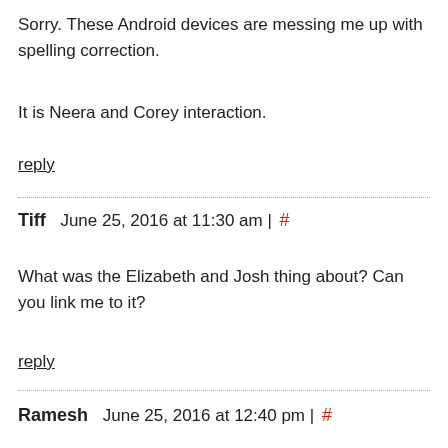Sorry. These Android devices are messing me up with spelling correction.
It is Neera and Corey interaction.
reply
Tiff   June 25, 2016 at 11:30 am | #
What was the Elizabeth and Josh thing about? Can you link me to it?
reply
Ramesh   June 25, 2016 at 12:40 pm | #